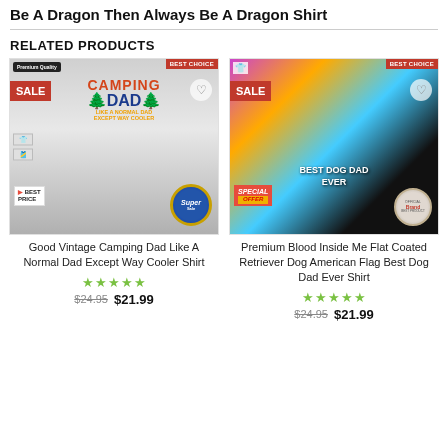Be A Dragon Then Always Be A Dragon Shirt
RELATED PRODUCTS
[Figure (photo): White t-shirt with 'Camping Dad Like A Normal Dad Except Way Cooler' design, with Sale and Best Choice badges]
Good Vintage Camping Dad Like A Normal Dad Except Way Cooler Shirt
★★★★★ $24.95 $21.99
[Figure (photo): Black t-shirt with dog and American flag design 'Best Dog Dad Ever', with Sale and Best Choice badges]
Premium Blood Inside Me Flat Coated Retriever Dog American Flag Best Dog Dad Ever Shirt
★★★★★ $24.95 $21.99